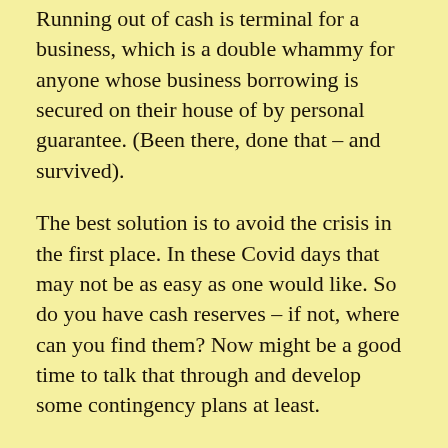Running out of cash is terminal for a business, which is a double whammy for anyone whose business borrowing is secured on their house of by personal guarantee. (Been there, done that – and survived).
The best solution is to avoid the crisis in the first place. In these Covid days that may not be as easy as one would like. So do you have cash reserves – if not, where can you find them? Now might be a good time to talk that through and develop some contingency plans at least.
If disaster is imminent there are things that you should do, urgently. Reducing your